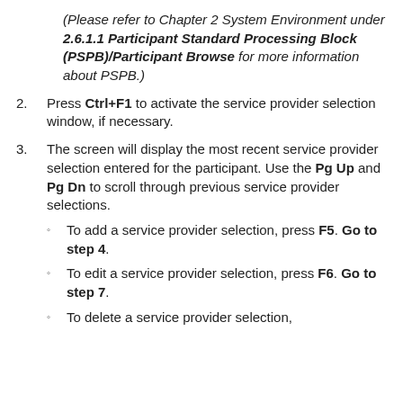(Please refer to Chapter 2 System Environment under 2.6.1.1 Participant Standard Processing Block (PSPB)/Participant Browse for more information about PSPB.)
2. Press Ctrl+F1 to activate the service provider selection window, if necessary.
3. The screen will display the most recent service provider selection entered for the participant. Use the Pg Up and Pg Dn to scroll through previous service provider selections.
To add a service provider selection, press F5. Go to step 4.
To edit a service provider selection, press F6. Go to step 7.
To delete a service provider selection,